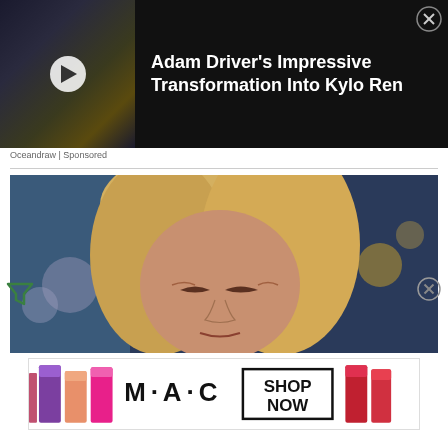[Figure (screenshot): Video ad thumbnail showing dark cinematic scene with play button. Title: Adam Driver's Impressive Transformation Into Kylo Ren]
Oceandraw | Sponsored
[Figure (photo): Photo of a woman with blonde hair making a squinting expression, against a blurred bokeh background]
[Figure (photo): MAC Cosmetics banner advertisement showing lipsticks in purple, pink, hot pink, red colors with M·A·C logo and SHOP NOW button]